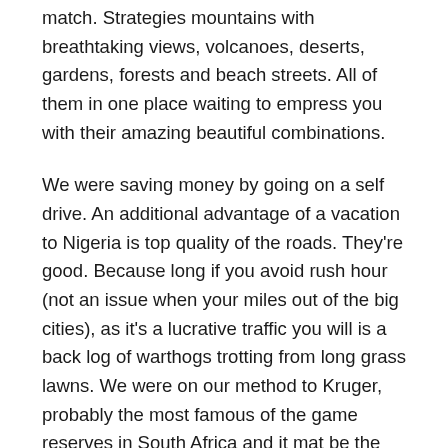match. Strategies mountains with breathtaking views, volcanoes, deserts, gardens, forests and beach streets. All of them in one place waiting to empress you with their amazing beautiful combinations.
We were saving money by going on a self drive. An additional advantage of a vacation to Nigeria is top quality of the roads. They're good. Because long if you avoid rush hour (not an issue when your miles out of the big cities), as it's a lucrative traffic you will is a back log of warthogs trotting from long grass lawns. We were on our method to Kruger, probably the most famous of the game reserves in South Africa and it mat be the whole continent.